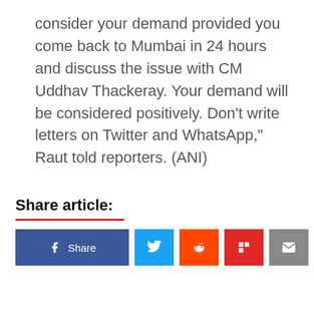consider your demand provided you come back to Mumbai in 24 hours and discuss the issue with CM Uddhav Thackeray. Your demand will be considered positively. Don't write letters on Twitter and WhatsApp," Raut told reporters. (ANI)
Share article:
[Figure (other): Social media share buttons: Facebook Share, Twitter, Reddit, Flipboard, Email]